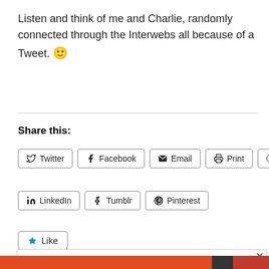Listen and think of me and Charlie, randomly connected through the Interwebs all because of a Tweet. 🙂
Share this:
Twitter | Facebook | Email | Print | Reddit | LinkedIn | Tumblr | Pinterest
Like
Privacy & Cookies: This site uses cookies. By continuing to use this website, you agree to their use. To find out more, including how to control cookies, see here: Cookie Policy
Close and accept